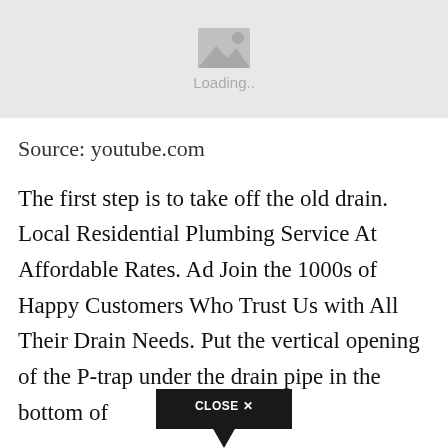[Figure (photo): Loading image placeholder with mountain/image icon and 'Loading..' text on grey background]
Source: youtube.com
The first step is to take off the old drain. Local Residential Plumbing Service At Affordable Rates. Ad Join the 1000s of Happy Customers Who Trust Us with All Their Drain Needs. Put the vertical opening of the P-trap under the drain pipe in the bottom of